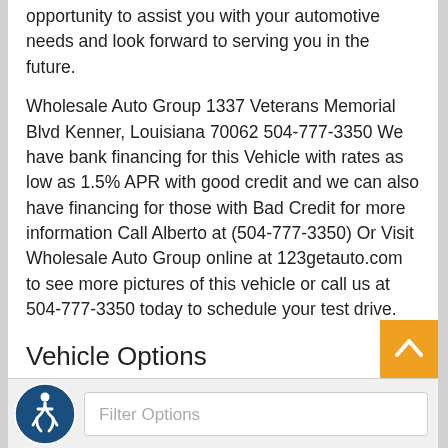opportunity to assist you with your automotive needs and look forward to serving you in the future.
Wholesale Auto Group 1337 Veterans Memorial Blvd Kenner, Louisiana 70062 504-777-3350 We have bank financing for this Vehicle with rates as low as 1.5% APR with good credit and we can also have financing for those with Bad Credit for more information Call Alberto at (504-777-3350) Or Visit Wholesale Auto Group online at 123getauto.com to see more pictures of this vehicle or call us at 504-777-3350 today to schedule your test drive.
Vehicle Options
Filter Options